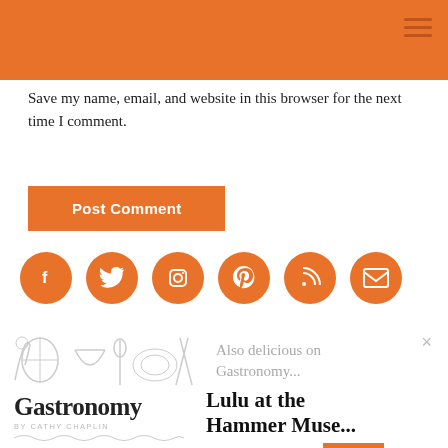Save my name, email, and website in this browser for the next time I comment.
Post Comment
[Figure (infographic): Six orange circular social media icons: Facebook, Twitter, Instagram, Pinterest, RSS, Email]
[Figure (illustration): Food and cooking utensils illustration in outline style, with text 'Also delicious on Gastronomy...' and a close button]
[Figure (logo): Gastronomy blog logo with decorative wave lines and 'BY CATHY CHAPLIN' byline]
Lulu at the Hammer Muse...
gastronomyblog.com
AddThis